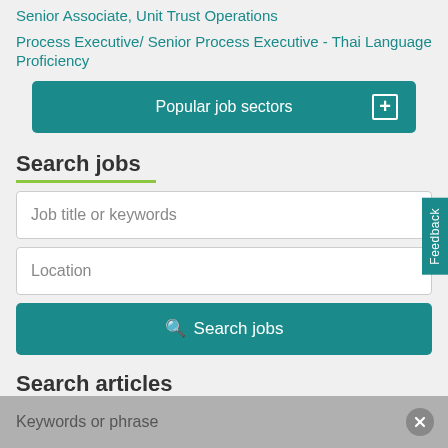Senior Associate, Unit Trust Operations
Process Executive/ Senior Process Executive - Thai Language Proficiency
Popular job sectors
Search jobs
Job title or keywords
Location
Search jobs
Search articles
Keywords or phrase